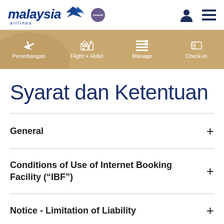[Figure (logo): Malaysia Airlines logo with oneworld badge and navigation icons (user profile and hamburger menu)]
[Figure (screenshot): Malaysia Airlines navigation bar with gold/tan background showing icons and labels: Penerbangan (flight), Flight + Hotel, Manage, Check-in]
Syarat dan Ketentuan
General
Conditions of Use of Internet Booking Facility (“IBF”)
Notice - Limitation of Liability